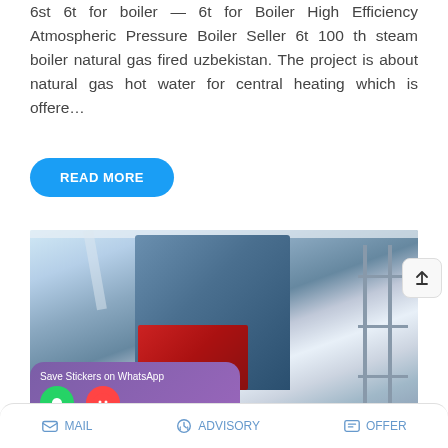6st 6t for boiler — 6t for Boiler High Efficiency Atmospheric Pressure Boiler Seller 6t 100 th steam boiler natural gas fired uzbekistan. The project is about natural gas hot water for central heating which is offere…
[Figure (photo): Industrial boiler installation inside a white building: large blue vertical boiler unit with red furnace front, metal scaffolding on the right side, white ceiling beams visible. A WhatsApp sticker app overlay appears at the bottom of the photo.]
MAIL   ADVISORY   OFFER